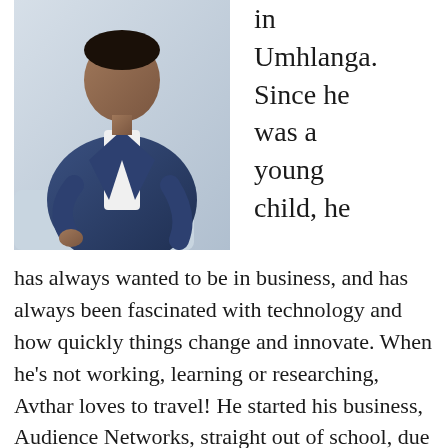[Figure (photo): Man in a blue suit seated, wearing a white shirt, professional photo with light background]
in Umhlanga. Since he was a young child, he
has always wanted to be in business, and has always been fascinated with technology and how quickly things change and innovate. When he's not working, learning or researching, Avthar loves to travel! He started his business, Audience Networks, straight out of school, due to the increasing demand for affordable, high quality video production and content creation. HD videos, screen technology and on-site videos and